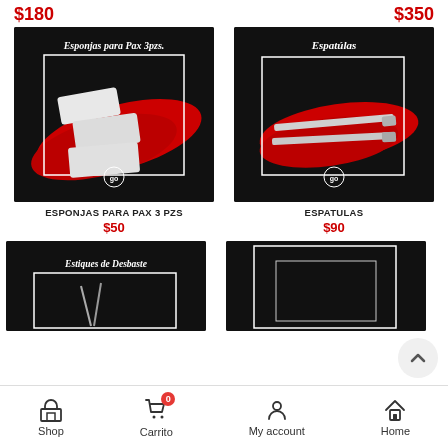$180
$350
[Figure (photo): Product image: Esponjas para Pax 3pzs - sponges on black background with red brush stroke and white border frame]
ESPONJAS PARA PAX 3 PZS
$50
[Figure (photo): Product image: Espatulas - spatulas/tools on black background with red brush stroke and white border frame]
ESPATULAS
$90
[Figure (photo): Product image: Estiques de Desbaste - tools on black background with red text title]
[Figure (photo): Partially visible product image on black background]
Shop  Carrito 0  My account  Home